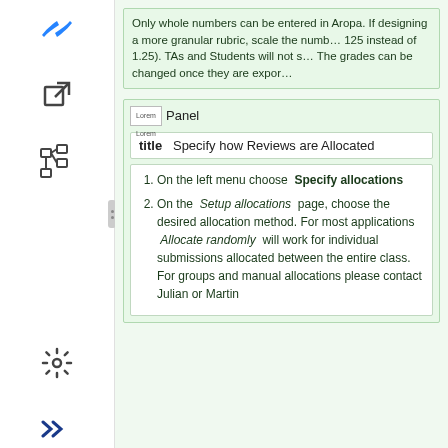Only whole numbers can be entered in Aropa. If designing a more granular rubric, scale the numbers (e.g. 125 instead of 1.25). TAs and Students will not see... The grades can be changed once they are exported...
Panel
title   Specify how Reviews are Allocated
1. On the left menu choose Specify allocations
2. On the Setup allocations page, choose the desired allocation method. For most applications Allocate randomly will work for individual submissions allocated between the entire class. For groups and manual allocations please contact Julian or Martin